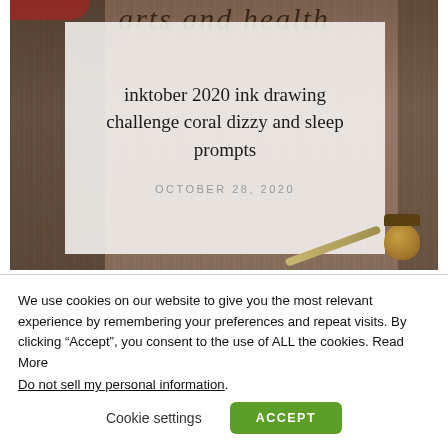[Figure (photo): Blog post thumbnail image showing art supplies (pens, acorn, stationery) on a wooden surface with a semi-transparent white card overlay containing the post title and date. Script text 'arts and health' visible at the top of the image.]
inktober 2020 ink drawing challenge coral dizzy and sleep prompts
OCTOBER 28, 2020
We use cookies on our website to give you the most relevant experience by remembering your preferences and repeat visits. By clicking “Accept”, you consent to the use of ALL the cookies. Read More
Do not sell my personal information.